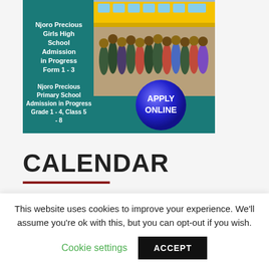[Figure (photo): School advertisement banner for Njoro Precious Girls High School and Primary School showing students in front of a yellow bus on a teal background, with an 'Apply Online' blue circular button]
CALENDAR
August 2021
This website uses cookies to improve your experience. We'll assume you're ok with this, but you can opt-out if you wish.
Cookie settings  ACCEPT